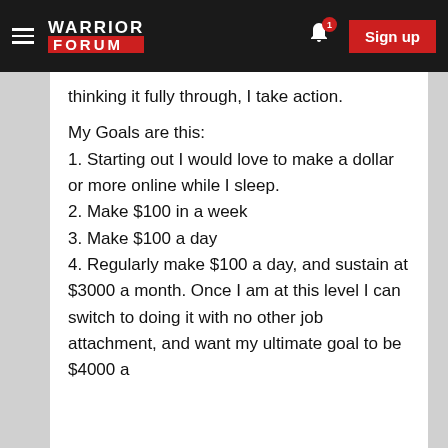Warrior Forum – Sign up
thinking it fully through, I take action.
My Goals are this:
1. Starting out I would love to make a dollar or more online while I sleep.
2. Make $100 in a week
3. Make $100 a day
4. Regularly make $100 a day, and sustain at $3000 a month. Once I am at this level I can switch to doing it with no other job attachment, and want my ultimate goal to be $4000 a